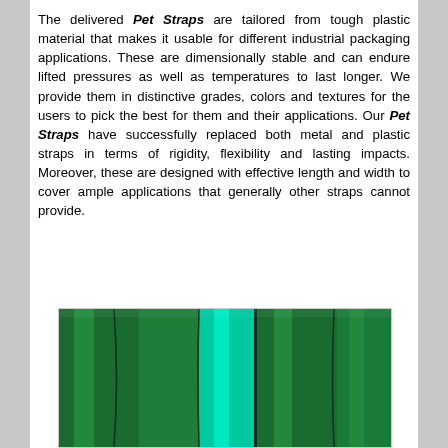The delivered Pet Straps are tailored from tough plastic material that makes it usable for different industrial packaging applications. These are dimensionally stable and can endure lifted pressures as well as temperatures to last longer. We provide them in distinctive grades, colors and textures for the users to pick the best for them and their applications. Our Pet Straps have successfully replaced both metal and plastic straps in terms of rigidity, flexibility and lasting impacts. Moreover, these are designed with effective length and width to cover ample applications that generally other straps cannot provide.
[Figure (photo): Close-up photo of green and teal colored PET straps arranged vertically, showing their glossy surface texture.]